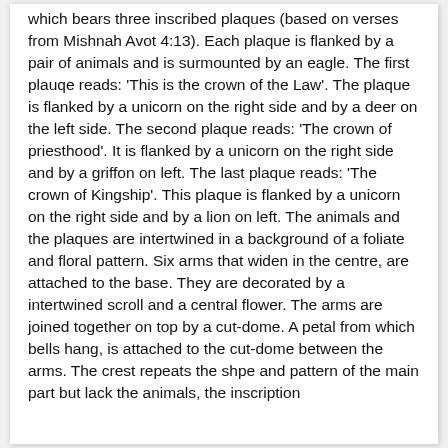which bears three inscribed plaques (based on verses from Mishnah Avot 4:13). Each plaque is flanked by a pair of animals and is surmounted by an eagle. The first plauqe reads: 'This is the crown of the Law'. The plaque is flanked by a unicorn on the right side and by a deer on the left side. The second plaque reads: 'The crown of priesthood'. It is flanked by a unicorn on the right side and by a griffon on left. The last plaque reads: 'The crown of Kingship'. This plaque is flanked by a unicorn on the right side and by a lion on left. The animals and the plaques are intertwined in a background of a foliate and floral pattern. Six arms that widen in the centre, are attached to the base. They are decorated by a intertwined scroll and a central flower. The arms are joined together on top by a cut-dome. A petal from which bells hang, is attached to the cut-dome between the arms. The crest repeats the shpe and pattern of the main part but lack the animals, the inscription